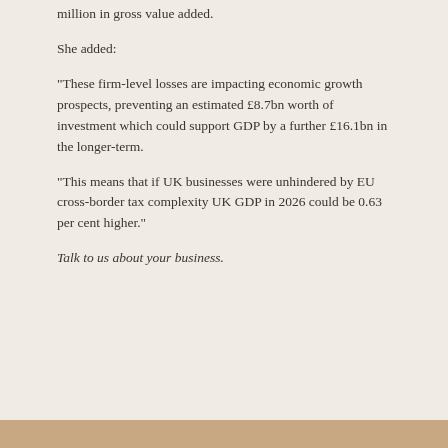million in gross value added.
She added:
"These firm-level losses are impacting economic growth prospects, preventing an estimated £8.7bn worth of investment which could support GDP by a further £16.1bn in the longer-term.
"This means that if UK businesses were unhindered by EU cross-border tax complexity UK GDP in 2026 could be 0.63 per cent higher."
Talk to us about your business.